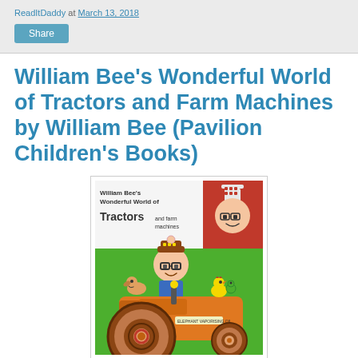ReadItDaddy at March 13, 2018
William Bee's Wonderful World of Tractors and Farm Machines by William Bee (Pavilion Children's Books)
[Figure (illustration): Book cover of William Bee's Wonderful World of Tractors and Farm Machines showing a cartoon boy with glasses riding an orange tractor with farm animals, on a green background with the book title in the upper left and a character face in a red box upper right.]